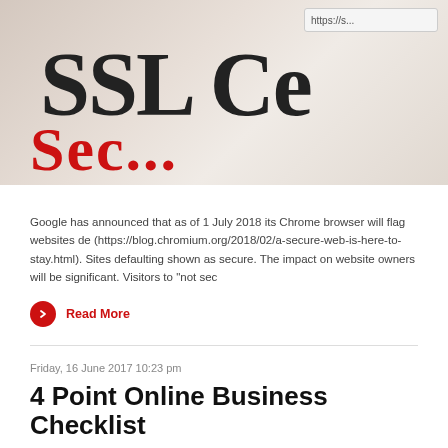[Figure (photo): Close-up photo of a screen showing 'SSL Ce...' text in large serif font with 'Sec...' in red below, and an https:// URL bar visible at top right]
Google has announced that as of 1 July 2018 its Chrome browser will flag websites de... (https://blog.chromium.org/2018/02/a-secure-web-is-here-to-stay.html). Sites defaulting... shown as secure. The impact on website owners will be significant. Visitors to "not sec...
Read More
Friday, 16 June 2017 10:23 pm
4 Point Online Business Checklist